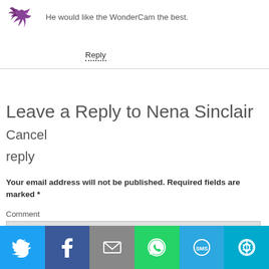[Figure (illustration): Purple decorative avatar/icon with bird/leaf shapes]
He would like the WonderCam the best.
Reply
Leave a Reply to Nena Sinclair Cancel reply
Your email address will not be published. Required fields are marked *
Comment
[Figure (screenshot): Social share bar with Twitter, Facebook, Email, WhatsApp, SMS, and More buttons]